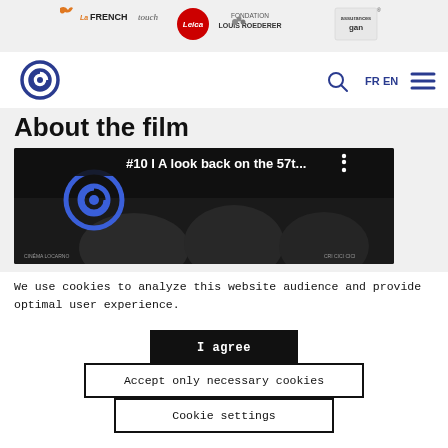[Figure (logo): Sponsor bar with four logos: La French Touch (orange bird), Leica (red circle), Fondation Louis Roederer, and Generali/Gan logo]
[Figure (logo): Navigation bar with Cinéma du Réel spiral logo on left, search icon, FR EN language toggle, and hamburger menu on right]
About the film
[Figure (screenshot): Video thumbnail on dark background showing '#10 I A look back on the 57t...' with Cinéma du Réel logo and partial view of people]
We use cookies to analyze this website audience and provide optimal user experience.
I agree
Accept only necessary cookies
Cookie settings